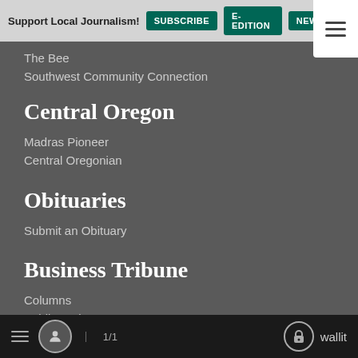Support Local Journalism! | SUBSCRIBE | E-EDITION | NEWSLET...
The Bee
Southwest Community Connection
Central Oregon
Madras Pioneer
Central Oregonian
Obituaries
Submit an Obituary
Business Tribune
Columns
Public Notices
Oregon Property Foreclosures
Business Calendar
Business Leads
New...ks
1/1  wallit